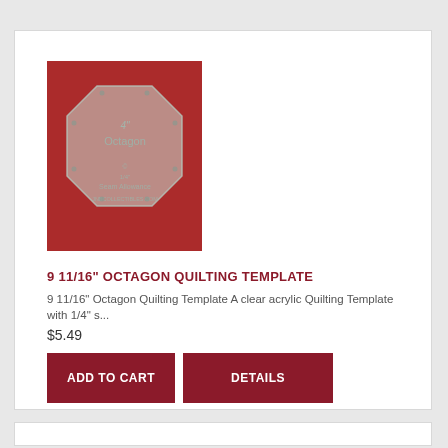[Figure (photo): Photo of a clear acrylic octagon quilting template labeled '4" Octagon' with seam allowance markings, placed on a red fabric background]
9 11/16" OCTAGON QUILTING TEMPLATE
9 11/16" Octagon Quilting Template A clear acrylic Quilting Template with 1/4" s...
$5.49
ADD TO CART
DETAILS